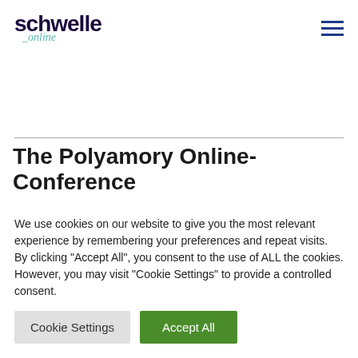schwelle _online
The Polyamory Online-Conference
This 3-day online conference facilitates an exploration of relationship models and
We use cookies on our website to give you the most relevant experience by remembering your preferences and repeat visits. By clicking "Accept All", you consent to the use of ALL the cookies. However, you may visit "Cookie Settings" to provide a controlled consent.